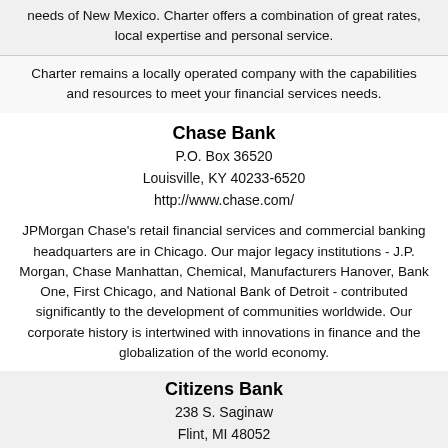needs of New Mexico. Charter offers a combination of great rates, local expertise and personal service.
Charter remains a locally operated company with the capabilities and resources to meet your financial services needs.
Chase Bank
P.O. Box 36520
Louisville, KY 40233-6520
http://www.chase.com/
JPMorgan Chase's retail financial services and commercial banking headquarters are in Chicago. Our major legacy institutions - J.P. Morgan, Chase Manhattan, Chemical, Manufacturers Hanover, Bank One, First Chicago, and National Bank of Detroit - contributed significantly to the development of communities worldwide. Our corporate history is intertwined with innovations in finance and the globalization of the world economy.
Citizens Bank
238 S. Saginaw
Flint, MI 48052